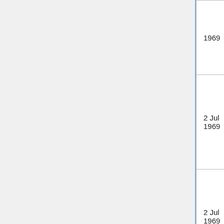| Date |  | Type | Language |
| --- | --- | --- | --- |
| 1969 |  | letter | Hin… |
| 2 Jul
1969 |  | letter | Hin… |
| 2 Jul
1969 |  | letter | Hin… |
5-7 Jul 1969 :   Osho to Sw Anand Maiteya... of Jamshedpur has been finalized unexpec... speaking there on 5, 6, 7 July. I will be read... Dhanbad on 5th Morning. Inform the friend... address of the organizer there is: Shree Ma... Golmuri, Jamshedpur – 3. Phone No. 4306... Jamshedpur and if friends are coming, brin...